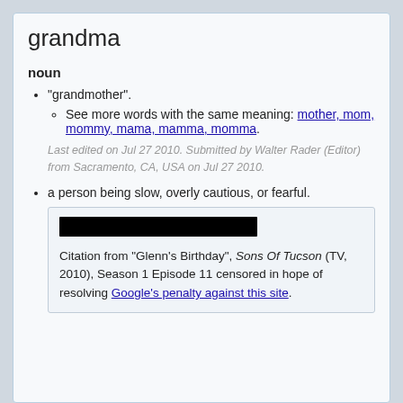grandma
noun
"grandmother".
See more words with the same meaning: mother, mom, mommy, mama, mamma, momma.
Last edited on Jul 27 2010. Submitted by Walter Rader (Editor) from Sacramento, CA, USA on Jul 27 2010.
a person being slow, overly cautious, or fearful.
Citation from "Glenn's Birthday", Sons Of Tucson (TV, 2010), Season 1 Episode 11 censored in hope of resolving Google's penalty against this site.